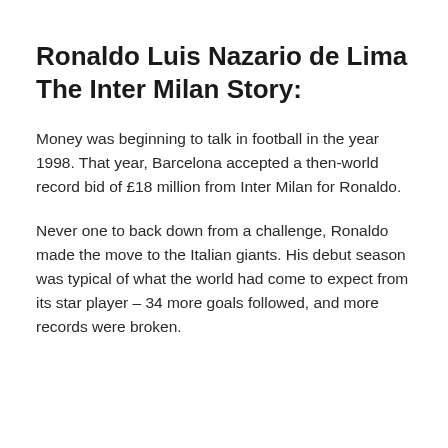Ronaldo Luis Nazario de Lima The Inter Milan Story:
Money was beginning to talk in football in the year 1998. That year, Barcelona accepted a then-world record bid of £18 million from Inter Milan for Ronaldo.
Never one to back down from a challenge, Ronaldo made the move to the Italian giants. His debut season was typical of what the world had come to expect from its star player – 34 more goals followed, and more records were broken.